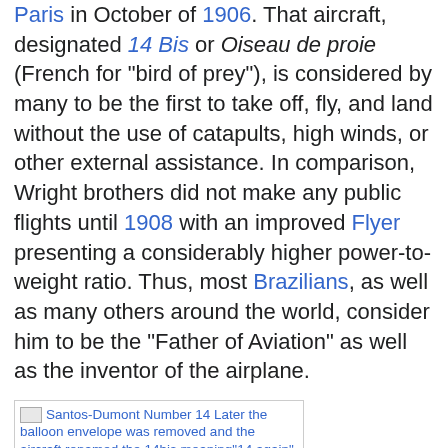Paris in October of 1906. That aircraft, designated 14 Bis or Oiseau de proie (French for "bird of prey"), is considered by many to be the first to take off, fly, and land without the use of catapults, high winds, or other external assistance. In comparison, Wright brothers did not make any public flights until 1908 with an improved Flyer presenting a considerably higher power-to-weight ratio. Thus, most Brazilians, as well as many others around the world, consider him to be the "Father of Aviation" as well as the inventor of the airplane.
[Figure (photo): Santos-Dumont Number 14 image placeholder with linked caption: Later the balloon envelope was removed and the aircraft renamed the 14bis meaning "14 again".]
Santos-Dumont Number 14 Later the balloon envelope was removed and the aircraft renamed the 14bis meaning "14 again".